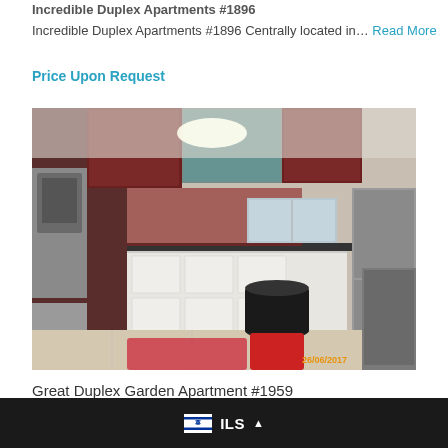Incredible Duplex Apartments #1896
Incredible Duplex Apartments #1896 Centrally located in… Read More
Price Upon Request
[Figure (photo): Interior kitchen photo of a duplex apartment showing dark wood upper cabinets, white lower cabinets, stainless steel appliances, tiled floor, and a trash can in the foreground. Timestamp 26/06/2017 in bottom right.]
Great Duplex Garden Apartment #1959
ILS